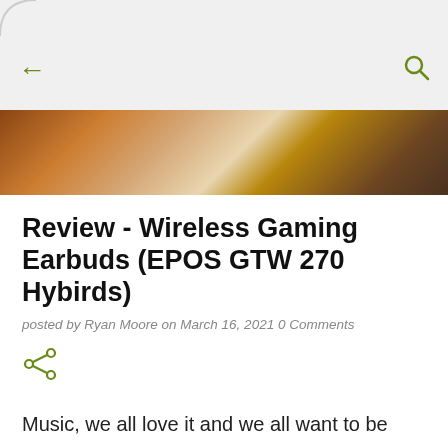[Figure (screenshot): App navigation bar with back arrow (left) and search icon (right) on light grey background]
[Figure (photo): Blurred hero image showing earbuds in warm brown/orange tones]
Review - Wireless Gaming Earbuds (EPOS GTW 270 Hybirds)
posted by Ryan Moore on March 16, 2021 0 Comments
[Figure (other): Share icon (green)]
Music, we all love it and we all want to be able to appreciate quality.  Who doesn't?  But, if you're like me - we're all crammed together stuck with no place to go, so we can't just listen to all the music we want as loud as we want - we have other